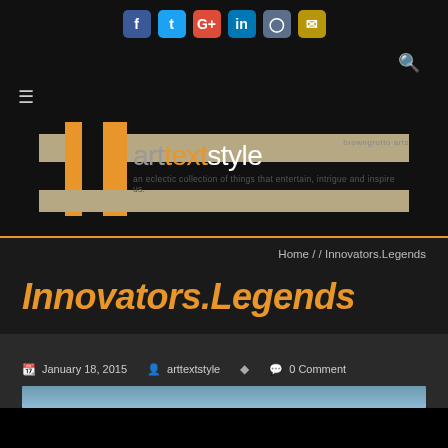[Figure (screenshot): Social media icon bar with Facebook, Twitter, Google+, LinkedIn, Instagram, and Email icons]
[Figure (logo): arttextstyle logo with orange blocks, tan stripes, and browngrotto.arts text]
Home / / Innovators.Legends
Innovators.Legends
January 18, 2015   arttextstyle   0 Comment
[Figure (photo): Partial blue-toned image at bottom of page]